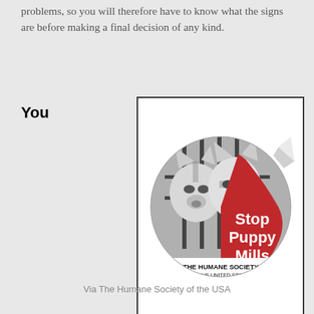problems, so you will therefore have to know what the signs are before making a final decision of any kind.
You
[Figure (illustration): A circular sticker image showing two husky puppies behind cage bars in black and white, with a red section on the right side displaying white bold text 'Stop Puppy Mills' and below it 'The Humane Society of the United States' in black text on a white band. The sticker has a peeling corner effect.]
Via The Humane Society of the USA